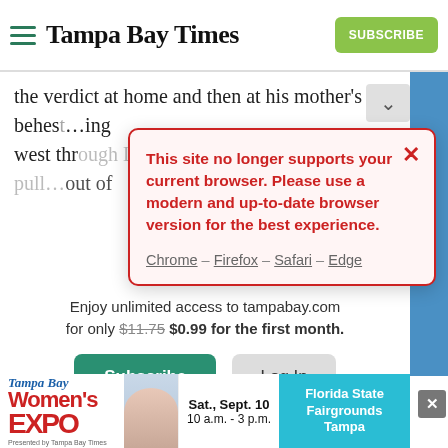Tampa Bay Times
the verdict at home and then at his mother's behest...ing west through Liberty City to get his cut and pull...out of
[Figure (screenshot): Error modal dialog with light pink background and red border reading: 'This site no longer supports your current browser. Please use a modern and up-to-date browser version for the best experience.' with browser links: Chrome – Firefox – Safari – Edge]
Enjoy unlimited access to tampabay.com for only $11.75 $0.99 for the first month.
Subscribe  Log In
Interested in print delivery? Subscribe here →
[Figure (infographic): Tampa Bay Women's Expo advertisement banner: Sat., Sept. 10 10 a.m. – 3 p.m. Florida State Fairgrounds Tampa]